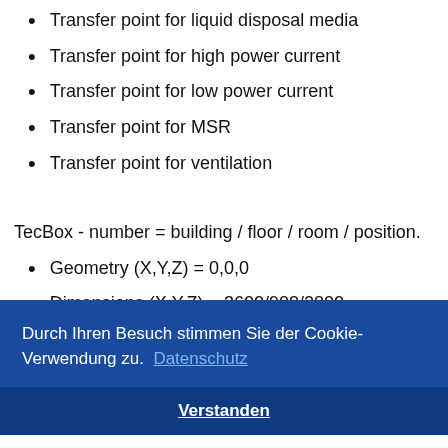Transfer point for liquid disposal media
Transfer point for high power current
Transfer point for low power current
Transfer point for MSR
Transfer point for ventilation
TecBox - number = building / floor / room / position.
Geometry (X,Y,Z) = 0,0,0
Dimensions (X,Y,Z) = 3600/900/2800
Weight = 850
Durch Ihren Besuch stimmen Sie der Cookie-Verwendung zu.  Datenschutz
Verstanden